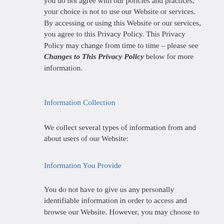you do not agree with our policies and practices, your choice is not to use our Website or services. By accessing or using this Website or our services, you agree to this Privacy Policy. This Privacy Policy may change from time to time – please see Changes to This Privacy Policy below for more information.
Information Collection
We collect several types of information from and about users of our Website:
Information You Provide
You do not have to give us any personally identifiable information in order to access and browse our Website. However, you may choose to